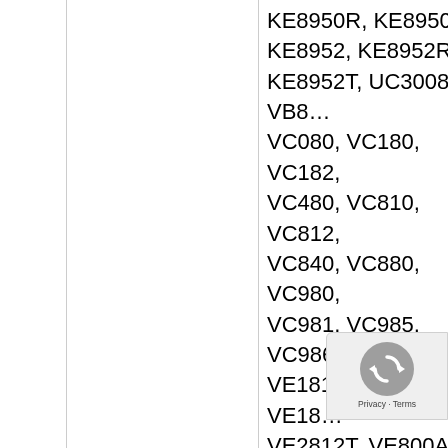|  | Description | Compatible Products |
| --- | --- | --- |
|  |  | KE8950R, KE8950T, KE8952, KE8952R, KE8952T, UC3008, VB…, VC080, VC180, VC182, VC480, VC810, VC812, VC840, VC880, VC980, VC981, VC985, VC986, VE1812, VE1812R, VE18…, VE2812T, VE800A, VE800AR, VE801, VE8…, VE801T, VE802, VE802…, VE802T, VE803, VE80…, VE806, VE806R, VE80…, VE809, VE810, VE812, VE812R, VE812T, VE813…, VE813A, VE814, VE814…, VE814AR, VE814…, VE814T, VE829…, VE849R, VE849T, VE8… |
| 2L-7D02H-1 | 2 m High Speed HDMI Cable with Ethernet | VE814AR, VE814…, VE814T, VE829…, VE849R, VE849T, VE8… |
[Figure (screenshot): reCAPTCHA cookie consent overlay with rotating arrows icon and Privacy - Terms links]